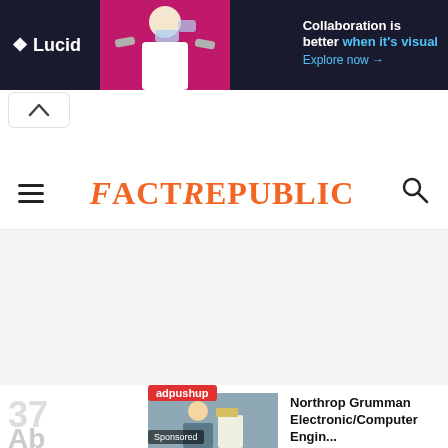[Figure (screenshot): Lucid advertisement banner with dark background, person image, and text: Collaboration is better when it's visual. Explore now →]
[Figure (screenshot): Collapse/chevron-up button]
FactRepublic
[Figure (screenshot): adpushup sponsored ad: Northrop Grumman Electronic/Computer Engin... from jobble.com]
37
Ab